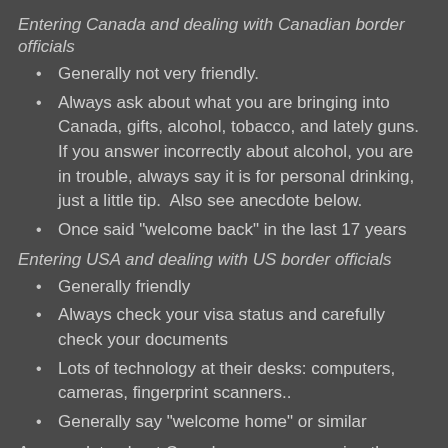Entering Canada and dealing with Canadian border officials
Generally not very friendly.
Always ask about what you are bringing into Canada, gifts, alcohol, tobacco, and lately guns.  If you answer incorrectly about alcohol, you are in trouble, always say it is for personal drinking, just a little tip.  Also see anecdote below.
Once said "welcome back" in the last 17 years
Entering USA and dealing with US border officials
Generally friendly
Always check your visa status and carefully check your documents
Lots of technology at their desks: computers, cameras, fingerprint scanners..
Generally say "welcome home" or similar
An anecdote about Canada: we were crossing the border at the Thousand Islands bridge and I put some wine and